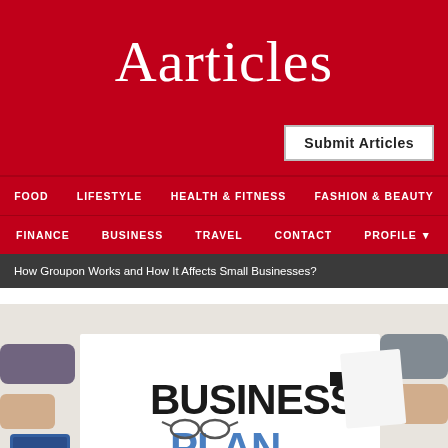Aarticles
Submit Articles
FOOD  LIFESTYLE  HEALTH & FITNESS  FASHION & BEAUTY
FINANCE  BUSINESS  TRAVEL  CONTACT  PROFILE
How Groupon Works and How It Affects Small Businesses?
[Figure (photo): Overhead photo of people around a table with a large 'BUSINESS PLAN' sign, tablets, papers, and charts visible.]